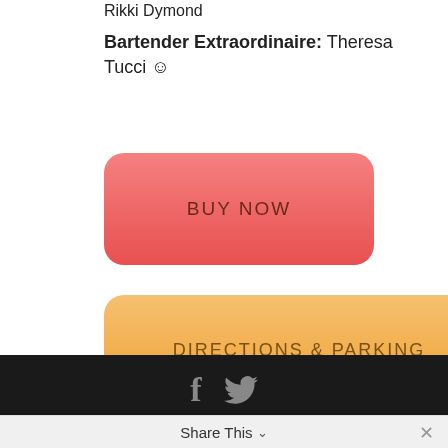Rikki Dymond
Bartender Extraordinaire: Theresa Tucci ☺
[Figure (other): Pink rounded rectangle button labeled BUY NOW]
[Figure (other): Orange rounded rectangle button labeled DIRECTIONS & PARKING]
[Figure (other): Social media icons: Facebook (f) and Twitter (bird)]
© 2020 Free Spirit Dance. All rights reserved.
Share This ∨  ✕